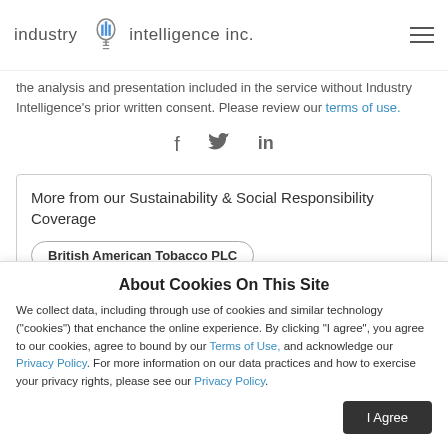industry iii intelligence inc.
the analysis and presentation included in the service without Industry Intelligence's prior written consent. Please review our terms of use.
[Figure (infographic): Social sharing icons: Facebook (f), Twitter (bird), LinkedIn (in)]
More from our Sustainability & Social Responsibility Coverage
British American Tobacco PLC
About Cookies On This Site
We collect data, including through use of cookies and similar technology ("cookies") that enchance the online experience. By clicking "I agree", you agree to our cookies, agree to bound by our Terms of Use, and acknowledge our Privacy Policy. For more information on our data practices and how to exercise your privacy rights, please see our Privacy Policy.